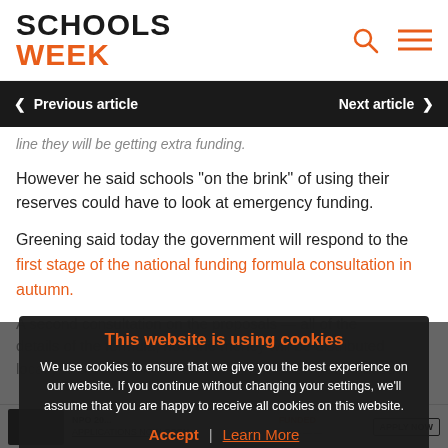Schools Week
< Previous article   Next article >
line they will be getting extra funding.
However he said schools “on the brink” of using their reserves could have to look at emergency funding.
Greening said today the government will respond to the first stage of the national funding formula consultation in autumn.
A second consultation on the proposals — all of the details of the formula, how the money will be distributed locally and decisions will be made in the new year, based
This website is using cookies
We use cookies to ensure that we give you the best experience on our website. If you continue without changing your settings, we’ll assume that you are happy to receive all cookies on this website.
Accept | Learn More